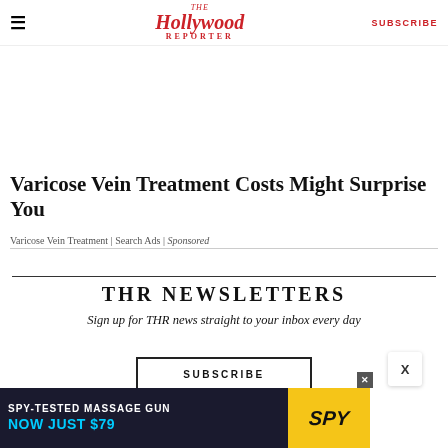≡  The Hollywood Reporter  SUBSCRIBE
[Figure (photo): Close-up photo of skin/arm area, warm beige and brown tones]
Varicose Vein Treatment Costs Might Surprise You
Varicose Vein Treatment | Search Ads | Sponsored
THR NEWSLETTERS
Sign up for THR news straight to your inbox every day
SUBSCRIBE
[Figure (screenshot): Bottom advertisement banner: SPY-TESTED MASSAGE GUN NOW JUST $79, with SPY logo on yellow background]